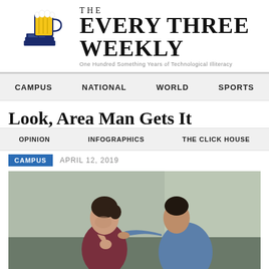[Figure (logo): The Every Three Weekly newspaper logo: beer mug with newspaper stack illustration on the left, large serif text 'THE EVERY THREE WEEKLY' on the right, subtitle 'One Hundred Something Years of Technological Illiteracy']
CAMPUS   NATIONAL   WORLD   SPORTS
Look, Area Man Gets It
OPINION   INFOGRAPHICS   THE CLICK HOUSE
CAMPUS   APRIL 12, 2019
[Figure (photo): Stock photo of a man comforting a distressed woman; the man has his hand on her shoulder, the woman is resting her chin on her hand looking downward.]